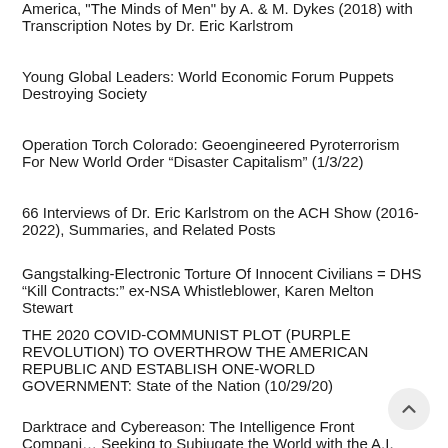America, "The Minds of Men" by A. & M. Dykes (2018) with Transcription Notes by Dr. Eric Karlstrom
Young Global Leaders: World Economic Forum Puppets Destroying Society
Operation Torch Colorado: Geoengineered Pyroterrorism For New World Order “Disaster Capitalism” (1/3/22)
66 Interviews of Dr. Eric Karlstrom on the ACH Show (2016-2022), Summaries, and Related Posts
Gangstalking-Electronic Torture Of Innocent Civilians = DHS “Kill Contracts:” ex-NSA Whistleblower, Karen Melton Stewart
THE 2020 COVID-COMMUNIST PLOT (PURPLE REVOLUTION) TO OVERTHROW THE AMERICAN REPUBLIC AND ESTABLISH ONE-WORLD GOVERNMENT: State of the Nation (10/29/20)
Darktrace and Cybereason: The Intelligence Front Companies Seeking to Subjugate the World with the A.I. Singularity